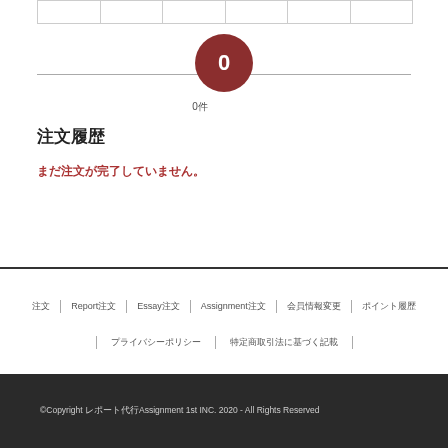|  |  |  |  |  |  |
| --- | --- | --- | --- | --- | --- |
|  |
[Figure (other): Circular badge with dark red background showing the number 0]
0件
注文履歴
まだ注文が完了していません。
注文 | Report注文 | Essay注文 | Assignment注文 | 会員情報変更 | ポイント履歴 | プライバシーポリシー | 特定商取引法に基づく記載
©Copyright レポート代行Assignment 1st INC. 2020 - All Rights Reserved